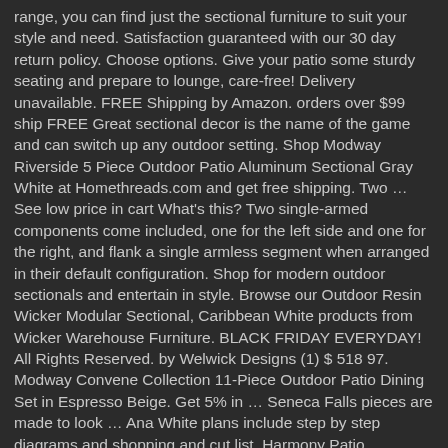range, you can find just the sectional furniture to suit your style and need. Satisfaction guaranteed with our 30 day return policy. Choose options. Give your patio some sturdy seating and prepare to lounge, care-free! Delivery unavailable. FREE Shipping by Amazon. orders over $99 ship FREE Great sectional decor is the name of the game and can switch up any outdoor setting. Shop Modway Riverside 5 Piece Outdoor Patio Aluminum Sectional Gray White at Homethreads.com and get free shipping. Two … See low price in cart What's this? Two single-armed components come included, one for the left side and one for the right, and flank a single armless segment when arranged in their default configuration. Shop for modern outdoor sectionals and entertain in style. Browse our Outdoor Resin Wicker Modular Sectional, Caribbean White products from Wicker Warehouse Furniture. BLACK FRIDAY EVERYDAY! All Rights Reserved. by Welwick Designs (1) $ 518 97. Modway Convene Collection 11-Piece Outdoor Patio Dining Set in Espresso Beige. Get 5% in … Seneca Falls pieces are made to look … Ana White plans include step by step diagrams and shopping and cut list. Harmony Patio Aluminum Corner Outdoor Sectional Chair in White with White Cushions. by Noble House $ 1280 38 /set. Free Shipping on Everything* at Overstock - Your Online Patio Furniture Store! Just takes some planning ahead of time. Great sectional decor is the name of the game and can switch up any outdoor setting. Create the perfect outdoor seating area with our comfortable outdoor sectionals, weather resistant and budget friendly. Usually ships within 3 to 5 days. White Outdoor Sofas, Chairs & Sectionals : Provide ample seating with outdoor sectional sofas and chairs. $1 500 48 $1 500. Do Not Sell My Personal Information CA